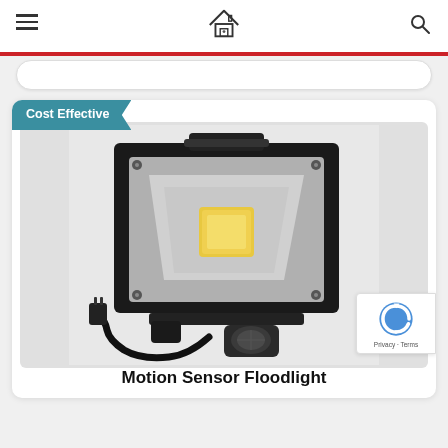Navigation header with hamburger menu, house logo, and search icon
[Figure (logo): House/home logo icon in center of header]
Cost Effective
[Figure (photo): LED motion sensor floodlight with black housing, COB LED chip, PIR motion sensor, power cord with plug]
Motion Sensor Floodlight